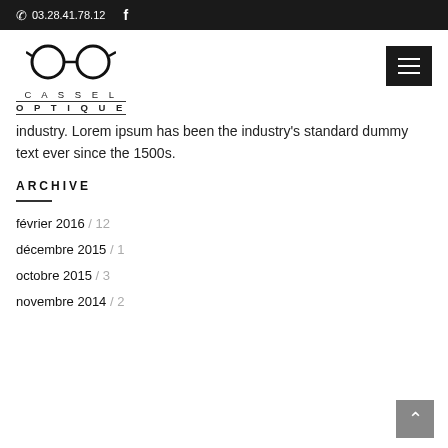03.28.41.78.12  f
[Figure (logo): Cassel Optique logo with glasses icon and text CASSEL OPTIQUE]
industry. Lorem Ipsum has been the industry's standard dummy text ever since the 1500s.
ARCHIVE
février 2016 / 12
décembre 2015 / 1
octobre 2015 / 3
novembre 2014 / 2